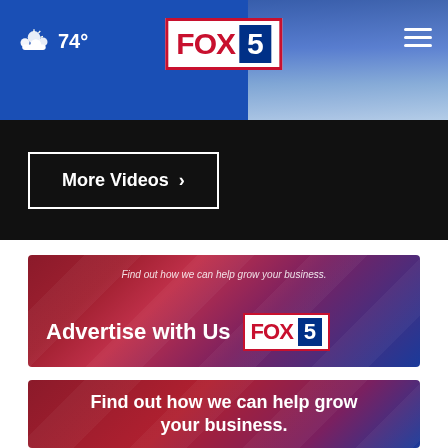74° FOX 5
More Videos ›
[Figure (infographic): FOX 5 advertise with us banner with gradient red-blue background, text: Find out how we can help grow your business. Advertise with Us FOX 5 logo]
[Figure (infographic): FOX 5 red-blue gradient banner with text: Find out how we can help grow your business.]